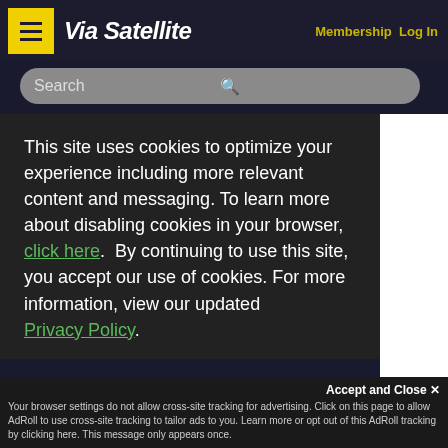Via Satellite  Membership  Log In
Search
This site uses cookies to optimize your experience including more relevant content and messaging. To learn more about disabling cookies in your browser, click here. By continuing to use this site, you accept our use of cookies. For more information, view our updated Privacy Policy.
I consent
Accept and Close ✕
Your browser settings do not allow cross-site tracking for advertising. Click on this page to allow AdRoll to use cross-site tracking to tailor ads to you. Learn more or opt out of this AdRoll tracking by clicking here. This message only appears once.